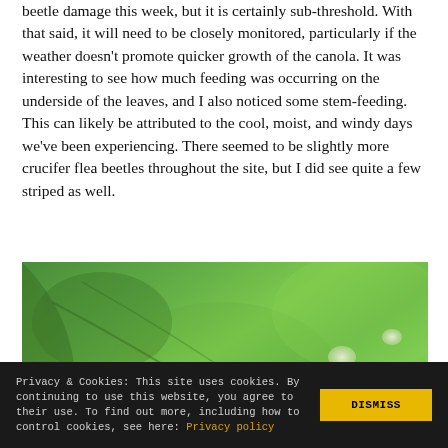The canola is pushing but the farm where there is more flea beetle damage this week, but it is certainly sub-threshold. With that said, it will need to be closely monitored, particularly if the weather doesn't promote quicker growth of the canola. It was interesting to see how much feeding was occurring on the underside of the leaves, and I also noticed some stem-feeding. This can likely be attributed to the cool, moist, and windy days we've been experiencing. There seemed to be slightly more crucifer flea beetles throughout the site, but I did see quite a few striped as well.
[Figure (photo): Close-up photograph of a green canola leaf showing flea beetle damage — small black beetles and white feeding spots (holes) visible on the leaf surface.]
Privacy & Cookies: This site uses cookies. By continuing to use this website, you agree to their use. To find out more, including how to control cookies, see here: Privacy policy